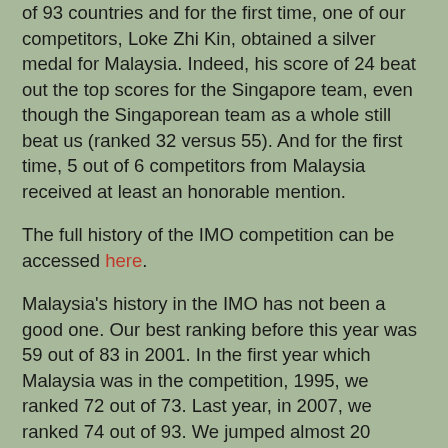of 93 countries and for the first time, one of our competitors, Loke Zhi Kin, obtained a silver medal for Malaysia. Indeed, his score of 24 beat out the top scores for the Singapore team, even though the Singaporean team as a whole still beat us (ranked 32 versus 55). And for the first time, 5 out of 6 competitors from Malaysia received at least an honorable mention.
The full history of the IMO competition can be accessed here.
Malaysia's history in the IMO has not been a good one. Our best ranking before this year was 59 out of 83 in 2001. In the first year which Malaysia was in the competition, 1995, we ranked 72 out of 73. Last year, in 2007, we ranked 74 out of 93. We jumped almost 20 ranking positions from 74 to 55 this year.
The first time Malaysia won a bronze medal was in 2000, when Shien Jin (who went to MIT for his undergrad and Harvard for his PhD) and Suhaimi Ramly (who went to MIT). They would have gotten a higher ranking for Malaysia if